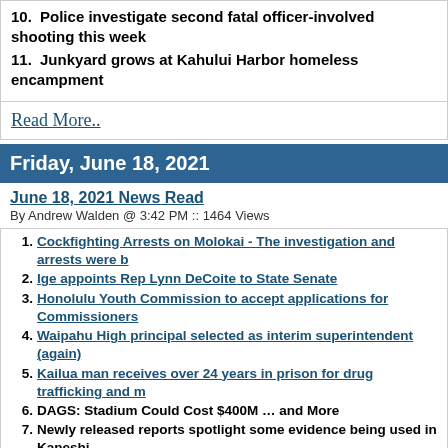10. Police investigate second fatal officer-involved shooting this week
11. Junkyard grows at Kahului Harbor homeless encampment
Read More..
Friday, June 18, 2021
June 18, 2021 News Read
By Andrew Walden @ 3:42 PM :: 1464 Views
1. Cockfighting Arrests on Molokai - The investigation and arrests were b...
2. Ige appoints Rep Lynn DeCoite to State Senate
3. Honolulu Youth Commission to accept applications for Commissioners...
4. Waipahu High principal selected as interim superintendent (again)
5. Kailua man receives over 24 years in prison for drug trafficking and m...
6. DAGS: Stadium Could Cost $400M … and More
7. Newly released reports spotlight some evidence being used in Kaneshi...
8. Lawmaker, watchdog call for investigation into HART's alleged misha...
9. Woman who called 911 says Lindani Myeni was following, filming her
10. A Potential Shakeup At OHA Is Clouding The Agency's Budget
11. Survey: More Than 80% Of Firms Struggle To Find Workers
12. Pentagon considering permanent naval task force to counter China in ...
13. Public hearing for red-light camera pilot hits glitch; deadline for comm...
14. Honolulu Is Revamping How It Prosecutes Domestic Violence Cases